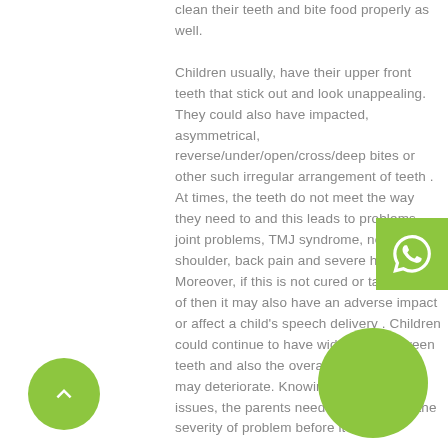clean their teeth and bite food properly as well.

Children usually, have their upper front teeth that stick out and look unappealing. They could also have impacted, asymmetrical, reverse/under/open/cross/deep bites or other such irregular arrangement of teeth . At times, the teeth do not meet the way they need to and this leads to problems – joint problems, TMJ syndrome, neck, shoulder, back pain and severe headaches. Moreover, if this is not cured or taken care of then it may also have an adverse impact or affect a child's speech delivery . Children could continue to have wide gaps between teeth and also the overall health of gums may deteriorate. Knowing all of these issues, the parents need to understand the severity of problem before it causes
[Figure (other): WhatsApp contact button (green square with WhatsApp icon)]
[Figure (other): Scroll to top button (green circle with upward chevron arrow)]
[Figure (other): Green decorative circle in bottom right corner]